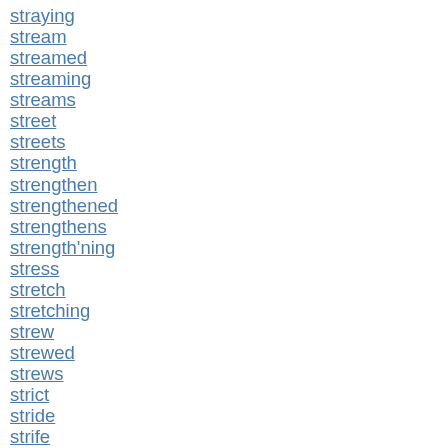straying
stream
streamed
streaming
streams
street
streets
strength
strengthen
strengthened
strengthens
strength'ning
stress
stretch
stretching
strew
strewed
strews
strict
stride
strife